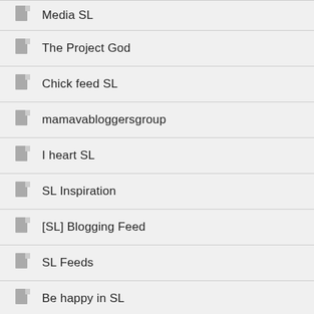Media SL
The Project God
Chick feed SL
mamavabloggersgroup
I heart SL
SL Inspiration
[SL] Blogging Feed
SL Feeds
Be happy in SL
SL style line